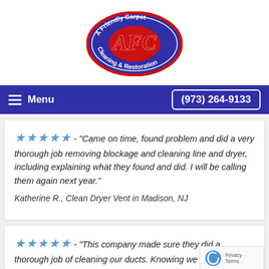[Figure (logo): A Friendly Carpet Cleaning & Restoration logo — blue oval with red border, AFC letters in red, white text around the border]
≡  Menu          (973) 264-9133
★★★★★ - "Came on time, found problem and did a very thorough job removing blockage and cleaning line and dryer, including explaining what they found and did. I will be calling them again next year."

Katherine R., Clean Dryer Vent in Madison, NJ
★★★★★ - "This company made sure they did a thorough job of cleaning our ducts. Knowing we took in